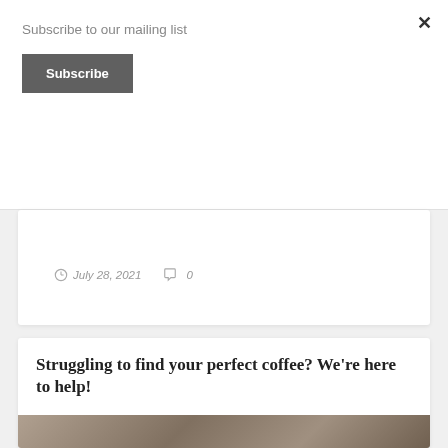Subscribe to our mailing list
Subscribe
× (close button)
July 28, 2021   0
Struggling to find your perfect coffee? We're here to help!
[Figure (photo): Bottom portion of a coffee photo showing coffee being poured, partially visible at the bottom of the page]